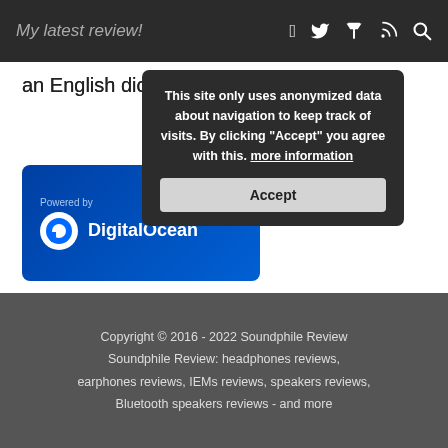My latest review!
an English dictionary
This site only uses anonymized data about navigation to keep track of visits. By clicking "Accept" you agree with this. more information
About
Contact me
Disclaimer
[Figure (logo): Powered by DigitalOcean logo banner]
Copyright © 2016 - 2022 Soundphile Review Soundphile Review: headphones reviews, earphones reviews, IEMs reviews, speakers reviews, Bluetooth speakers reviews - and more